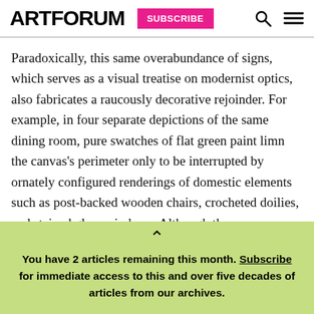ARTFORUM | SUBSCRIBE
Paradoxically, this same overabundance of signs, which serves as a visual treatise on modernist optics, also fabricates a raucously decorative rejoinder. For example, in four separate depictions of the same dining room, pure swatches of flat green paint limn the canvas's perimeter only to be interrupted by ornately configured renderings of domestic elements such as post-backed wooden chairs, crocheted doilies, and stained glass windows. Although the
You have 2 articles remaining this month. Subscribe for immediate access to this and over five decades of articles from our archives.